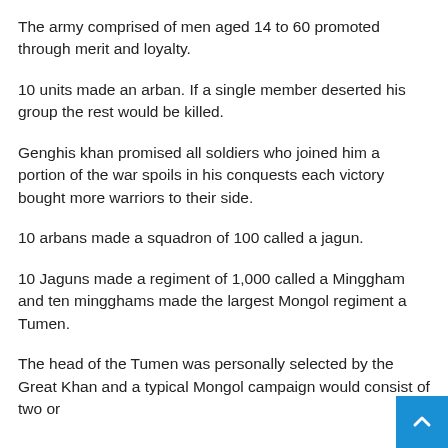The army comprised of men aged 14 to 60 promoted through merit and loyalty.
10 units made an arban. If a single member deserted his group the rest would be killed.
Genghis khan promised all soldiers who joined him a portion of the war spoils in his conquests each victory bought more warriors to their side.
10 arbans made a squadron of 100 called a jagun.
10 Jaguns made a regiment of 1,000 called a Minggham and ten mingghams made the largest Mongol regiment a Tumen.
The head of the Tumen was personally selected by the Great Khan and a typical Mongol campaign would consist of two or